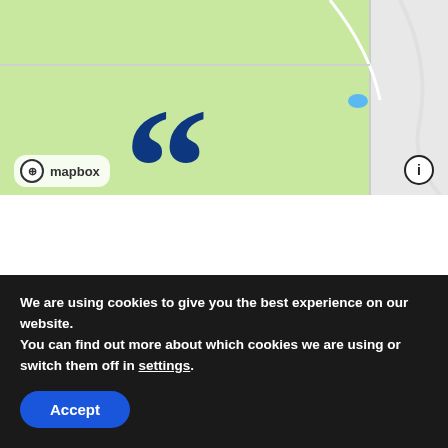[Figure (map): Mapbox map showing green park/terrain area with roads and a small blue water body. Mapbox logo in lower left, info button in lower right.]
“We’ve known Mountainside Real Estate and Deb Pierce for many years. Bought our condo from them back in ’99 and Deb
We are using cookies to give you the best experience on our website.
You can find out more about which cookies we are using or switch them off in settings.
Accept